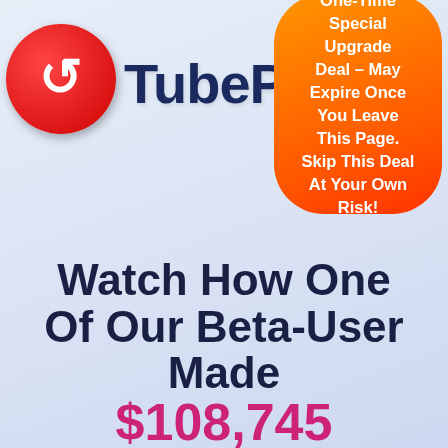[Figure (logo): TubePal logo with red circle icon containing a white T letter and TubePal text in dark navy blue]
One-Time Special Upgrade Deal – May Expire Once You Leave This Page. Skip This Deal At Your Own Risk!
Watch How One Of Our Beta-User Made $108,745